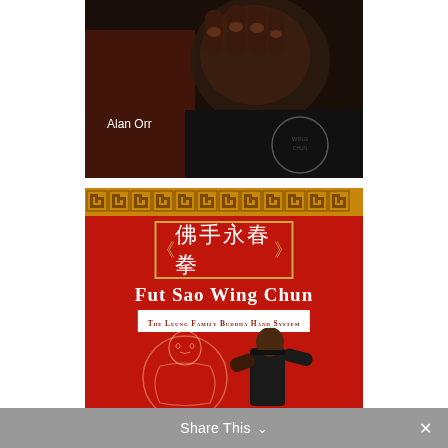[Figure (photo): Close-up photo of a fist/hand in martial arts pose, person wearing black t-shirt with circular logo. Text 'Alan Orr' overlaid in white.]
[Figure (illustration): Red book cover for 'Fut Sao Wing Chun: The Leung Family Buddha Hand System'. Features gold Greek key border at top, Chinese characters (佛手永春拳) in white banner, large white title text, subtitle on white bar, and illustrated buddha figure outline with a man in martial arts stance at bottom.]
Share This ∨  ×